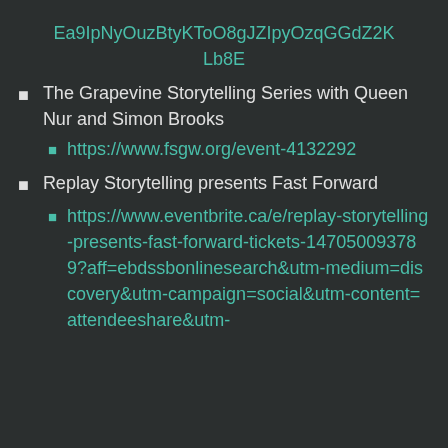Ea9IpNyOuzBtyKToO8gJZIpyOzqGGdZ2KLb8E
The Grapevine Storytelling Series with Queen Nur and Simon Brooks
https://www.fsgw.org/event-4132292
Replay Storytelling presents Fast Forward
https://www.eventbrite.ca/e/replay-storytelling-presents-fast-forward-tickets-147050093789?aff=ebdssbonlinesearch&utm-medium=discovery&utm-campaign=social&utm-content=attendeeshare&utm-